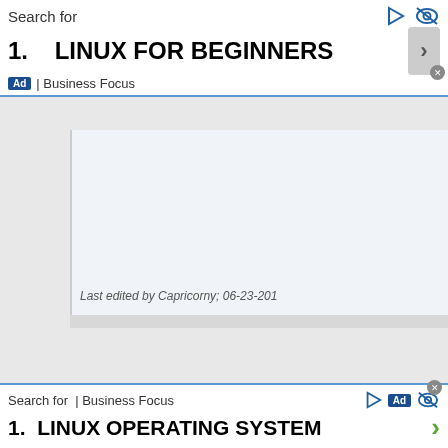Search for  | Ad | Business Focus
1.    LINUX FOR BEGINNERS
Last edited by Capricorny; 06-23-201
07-02-2012, 09:44 PM
user89
Member
Join Date: Jul 2012
Posts: 33
I tried the "static" version of Skype, downloaded it from the official website nothin
Search for | Business Focus | Ad
1.  LINUX OPERATING SYSTEM